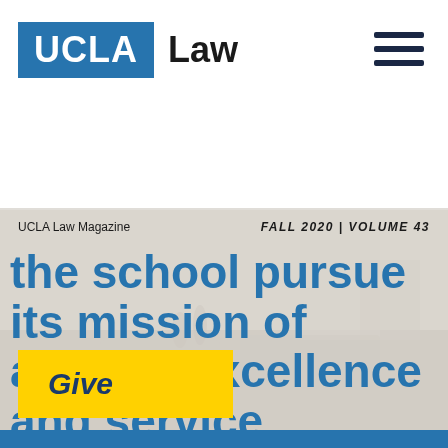[Figure (logo): UCLA Law logo: blue rectangle with white UCLA text, followed by bold black 'Law' text]
[Figure (illustration): Hamburger menu icon: three horizontal dark navy lines stacked]
UCLA Law Magazine    FALL 2020 | VOLUME 43
the school pursue its mission of access, excellence and service.
Give
[Figure (photo): Faded background photo of an outdoor scene, likely a street or campus area with vehicles and people]